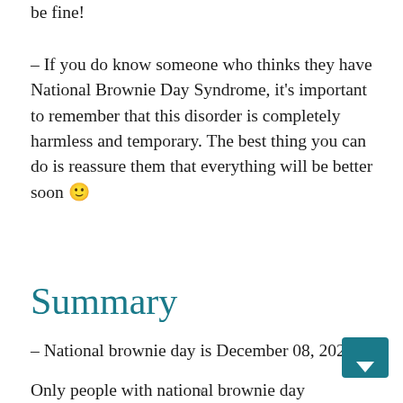be fine!
– If you do know someone who thinks they have National Brownie Day Syndrome, it's important to remember that this disorder is completely harmless and temporary. The best thing you can do is reassure them that everything will be better soon 🙂
Summary
– National brownie day is December 08, 2021
Only people with national brownie day